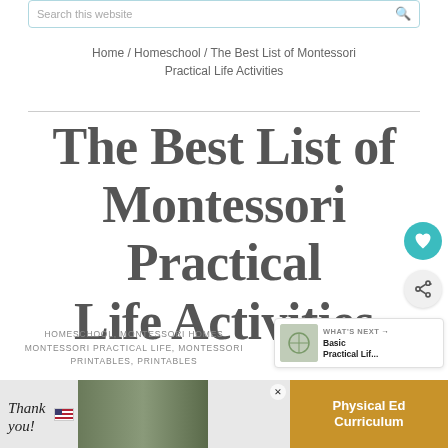Search this website
Home / Homeschool / The Best List of Montessori Practical Life Activities
The Best List of Montessori Practical Life Activities
HOMESCHOOL, MONTESSORI HOMESCHOOL, MONTESSORI PRACTICAL LIFE, MONTESSORI PRINTABLES, PRINTABLES
[Figure (screenshot): What's Next box with thumbnail image and text 'Basic Practical Lif...']
[Figure (photo): Advertisement banner with Thank You text, US flag, soldier image, and Physical Ed Curriculum text on orange background]